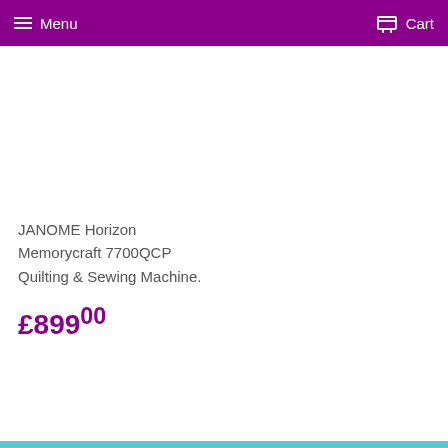Menu   Cart
JANOME Horizon Memorycraft 7700QCP Quilting & Sewing Machine.
£899.00